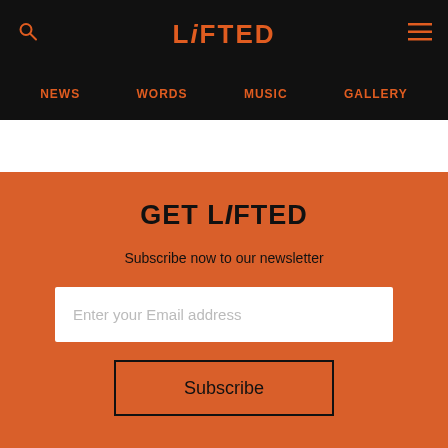LiFTED
NEWS  WORDS  MUSIC  GALLERY
GET LiFTED
Subscribe now to our newsletter
Enter your Email address
Subscribe